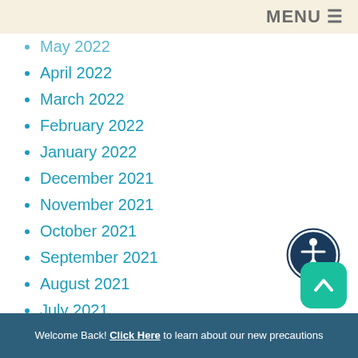MENU
May 2022
April 2022
March 2022
February 2022
January 2022
December 2021
November 2021
October 2021
September 2021
August 2021
July 2021
May 2021
April 2021
March 2021
[Figure (illustration): Accessibility icon: dark blue circle with a white human figure (universal accessibility symbol)]
[Figure (illustration): Teal rounded square button with white upward arrow icon]
Welcome Back! Click Here to learn about our new precautions